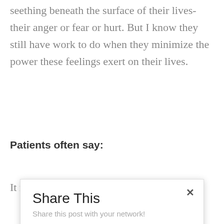seething beneath the surface of their lives-their anger or fear or hurt. But I know they still have work to do when they minimize the power these feelings exert on their lives.
Patients often say:
It makes me a little frustrated
[Figure (screenshot): Share This modal dialog with social media share buttons for Facebook, Twitter, Pinterest, and LinkedIn. Subtitle: Share this post with your network!]